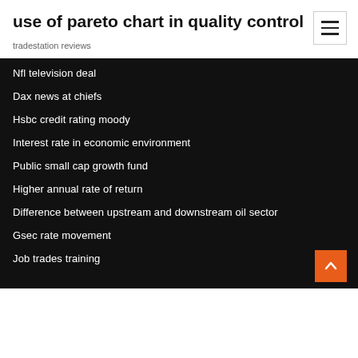use of pareto chart in quality control
tradestation reviews
Nfl television deal
Dax news at chiefs
Hsbc credit rating moody
Interest rate in economic environment
Public small cap growth fund
Higher annual rate of return
Difference between upstream and downstream oil sector
Gsec rate movement
Job trades training